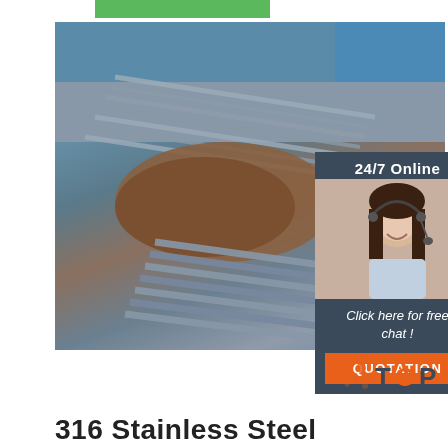[Figure (photo): Green bar/banner at top of page]
[Figure (photo): Large photo of stainless steel rods and bars stacked outdoors, with soil/earth visible in background]
[Figure (photo): Sidebar overlay box with '24/7 Online' text, photo of female customer service representative with headset, 'Click here for free chat!' text, and orange QUOTATION button]
[Figure (logo): TOP logo with orange dot pattern and colored letters T-O-P]
316 Stainless Steel